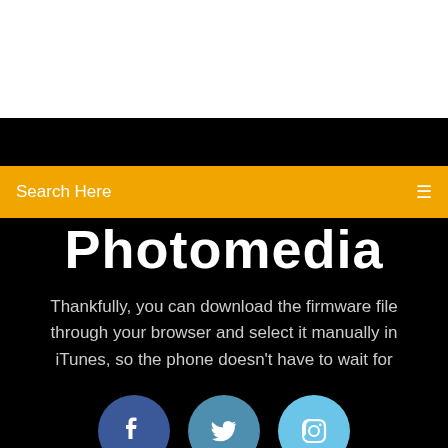[Figure (screenshot): White top area of webpage]
[Figure (screenshot): Black navigation bar]
[Figure (screenshot): Orange/yellow search bar with 'Search Here' placeholder text and search icon]
Photomedia
Thankfully, you can download the firmware file through your browser and select it manually in iTunes, so the phone doesn't have to wait for
[Figure (infographic): Social media icons: Facebook (dark blue circle with f), Twitter (medium blue circle with bird), Instagram (light blue circle with camera icon)]